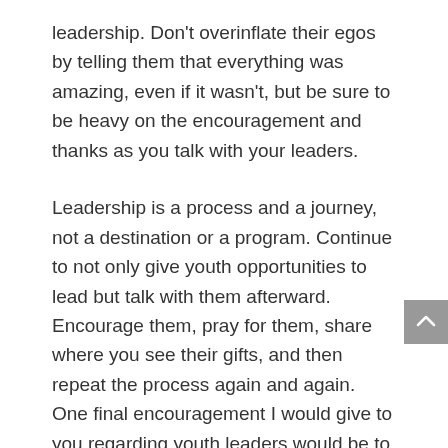leadership. Don't overinflate their egos by telling them that everything was amazing, even if it wasn't, but be sure to be heavy on the encouragement and thanks as you talk with your leaders.
Leadership is a process and a journey, not a destination or a program. Continue to not only give youth opportunities to lead but talk with them afterward. Encourage them, pray for them, share where you see their gifts, and then repeat the process again and again. One final encouragement I would give to you regarding youth leaders would be to share with their parents the amazing things that you see in their kids. Get them excited about their kids using their gifts in the church by writing, texting, emailing, or...